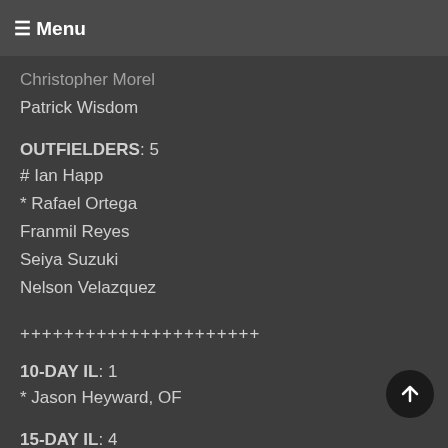☰ Menu
Christopher Morel
Patrick Wisdom
OUTFIELDERS: 5
# Ian Happ
* Rafael Ortega
Franmil Reyes
Seiya Suzuki
Nelson Velazquez
++++++++++++++++++++++
10-DAY IL: 1
* Jason Heyward, OF
15-DAY IL: 4
Kyle Hendricks, P
* Wade Miley, P
Alec Mills, P